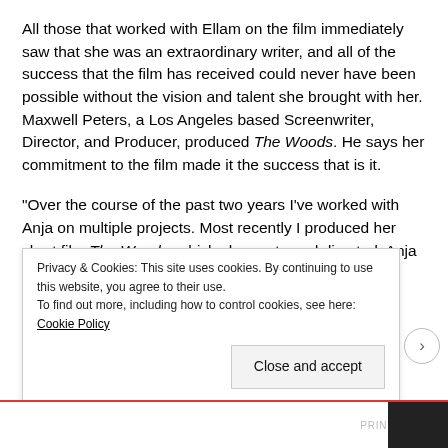All those that worked with Ellam on the film immediately saw that she was an extraordinary writer, and all of the success that the film has received could never have been possible without the vision and talent she brought with her. Maxwell Peters, a Los Angeles based Screenwriter, Director, and Producer, produced The Woods. He says her commitment to the film made it the success that is it.
"Over the course of the past two years I've worked with Anja on multiple projects. Most recently I produced her short film The Woods, which she wrote and directed. Anja is
Privacy & Cookies: This site uses cookies. By continuing to use this website, you agree to their use.
To find out more, including how to control cookies, see here: Cookie Policy
Close and accept